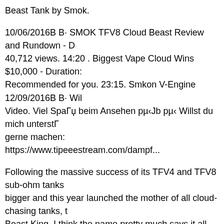Beast Tank by Smok.
10/06/2016В В· SMOK TFV8 Cloud Beast Review and Rundown - Duration: 40,712 views. 14:20 . Biggest Vape Cloud Wins $10,000 - Duration: Recommended for you. 23:15. Smkon V-Engine 12/09/2016В В· Wil Video. Viel SpaГџ beim Ansehen рµ‹Јb рµ‹ Willst du mich unterstГ gerne machen: https://www.tipeeestream.com/dampf...
Following the massive success of its TFV4 and TFV8 sub-ohm tanks, bigger and this year launched the mother of all cloud-chasing tanks, t Beast King. I think the name pretty much says it all, but if this is you TFV family of tanks, they are all about big clouds of vapor so dense New SMOK TFV8 Baby Beast Tank Review. Our TFV8 Baby Beast be up and live soon. In the meantime check out our other Sub Ohm T
Atomiseur TFV8 The Cloud Beast - Smok Le TFV8 est un clearomis permettant dТ©norme volume de vapeur avec ses airflow monstrueu simplicitТ© d'utilisation, et un clearomiseur trГЁs bien conГ§u: pas remplissage facile par le haut. The SMOK TFV8 Cloud Beast Tank is SMOKТable to define or mention the Sub Ohm Tank platform in